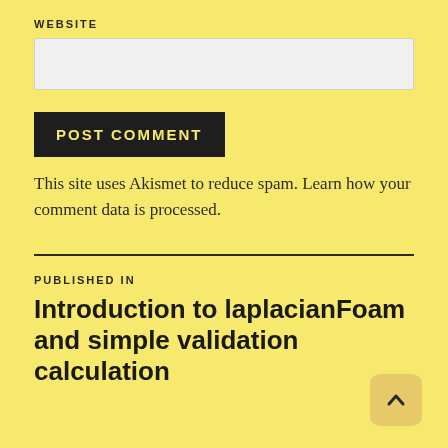WEBSITE
POST COMMENT
This site uses Akismet to reduce spam. Learn how your comment data is processed.
PUBLISHED IN
Introduction to laplacianFoam and simple validation calculation